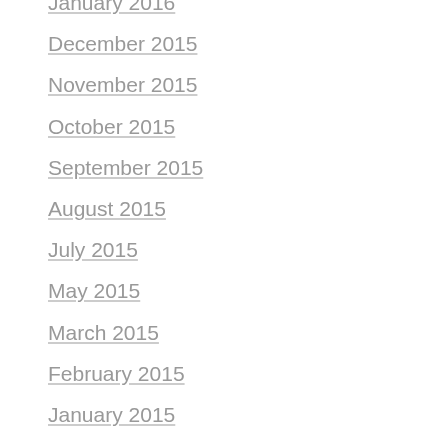January 2016
December 2015
November 2015
October 2015
September 2015
August 2015
July 2015
May 2015
March 2015
February 2015
January 2015
December 2014
November 2014
October 2014
September 2014